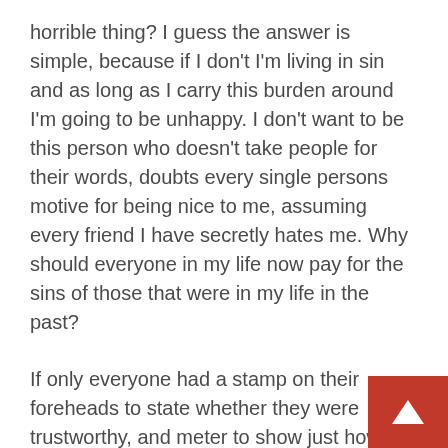horrible thing? I guess the answer is simple, because if I don't I'm living in sin and as long as I carry this burden around I'm going to be unhappy. I don't want to be this person who doesn't take people for their words, doubts every single persons motive for being nice to me, assuming every friend I have secretly hates me. Why should everyone in my life now pay for the sins of those that were in my life in the past?
If only everyone had a stamp on their foreheads to state whether they were trustworthy, and meter to show just how real or fake they really are...
That's not how it is, though. This is real life. Time for me to pick myself back up, again. Time to dust off my genuine smile, and know that people are being nice to me because they simply like me, not to dig up dirt on a myself, a friend or family member. Time to take people for their